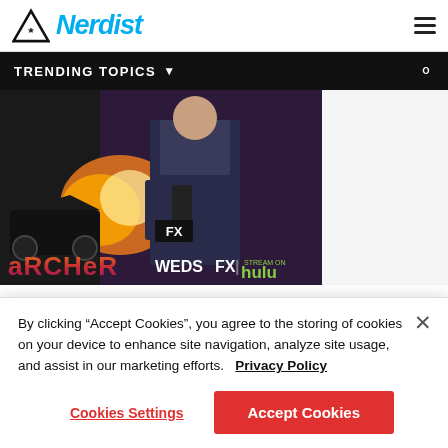Nerdist
TRENDING TOPICS
[Figure (photo): Advertisement banner for Archer on FX, showing animated characters with explosion and motorcycles, text reads 'ARCHER WEDS FX | STREAM ON hulu']
Top Stories
By clicking “Accept Cookies”, you agree to the storing of cookies on your device to enhance site navigation, analyze site usage, and assist in our marketing efforts.   Privacy Policy
Cookies Settings
Accept Cookies